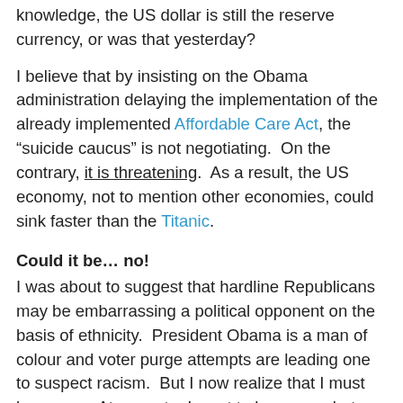knowledge, the US dollar is still the reserve currency, or was that yesterday?
I believe that by insisting on the Obama administration delaying the implementation of the already implemented Affordable Care Act, the “suicide caucus” is not negotiating.  On the contrary, it is threatening.  As a result, the US economy, not to mention other economies, could sink faster than the Titanic.
Could it be… no!
I was about to suggest that hardline Republicans may be embarrassing a political opponent on the basis of ethnicity.  President Obama is a man of colour and voter purge attempts are leading one to suspect racism.  But I now realize that I must be wrong.  At any rate, I want to be wrong, but may be stating the truth.  I would like to think